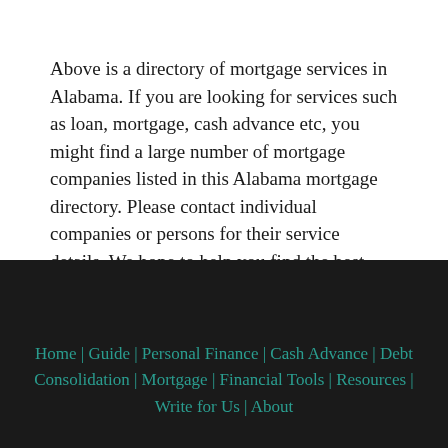Above is a directory of mortgage services in Alabama. If you are looking for services such as loan, mortgage, cash advance etc, you might find a large number of mortgage companies listed in this Alabama mortgage directory. Please contact individual companies or persons for their service details. We hope to help you find the best mortgage services in Alabama!
Home | Guide | Personal Finance | Cash Advance | Debt Consolidation | Mortgage | Financial Tools | Resources | Write for Us | About